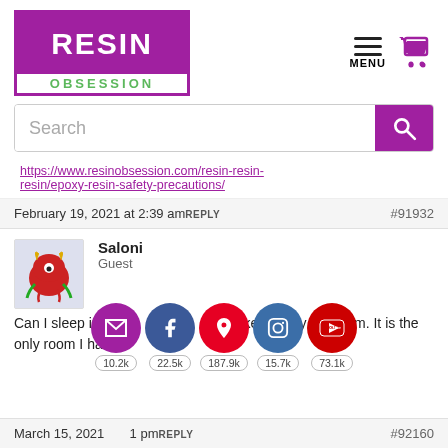[Figure (logo): Resin Obsession logo — purple box with white RESIN text on top, green OBSESSION text on bottom]
[Figure (infographic): Hamburger menu icon and purple shopping cart icon]
[Figure (screenshot): Search bar with purple search button]
https://www.resinobsession.com/resin-resin-resin/epoxy-resin-safety-precautions/
February 19, 2021 at 2:39 am REPLY #91932
[Figure (illustration): Monster avatar illustration — red monster with horns and tentacles on light background]
Saloni
Guest
[Figure (infographic): Social media share icons row: email (purple), Facebook (blue), Pinterest (red), Instagram (blue), YouTube (red) with counts 10.2k, 22.5k, 187.9k, 15.7k, 73.1k]
Can I sleep in a room where I make it in my bedroom. It is the only room I have.
March 15, 2021 at [time] pm REPLY #92160